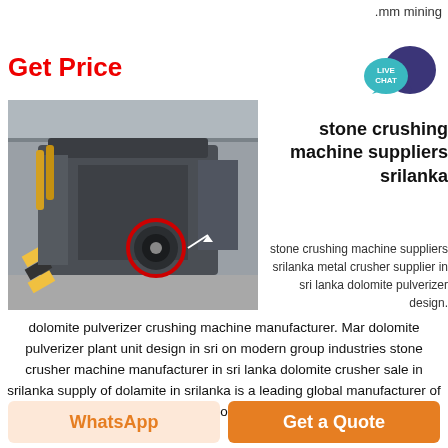.mm mining
Get Price
[Figure (photo): Industrial stone crushing machine in a factory setting, large grey metal machine with a red-circled component highlighted]
[Figure (infographic): Live Chat badge with teal speech bubble and dark blue chat icon]
stone crushing machine suppliers srilanka
stone crushing machine suppliers srilanka metal crusher supplier in sri lanka dolomite pulverizer design.
dolomite pulverizer crushing machine manufacturer. Mar dolomite pulverizer plant unit design in sri on modern group industries stone crusher machine manufacturer in sri lanka dolomite crusher sale in srilanka supply of dolamite in srilanka is a leading global manufacturer of crushing and milling equipment dolomite crushing machine colombo sri
WhatsApp
Get a Quote